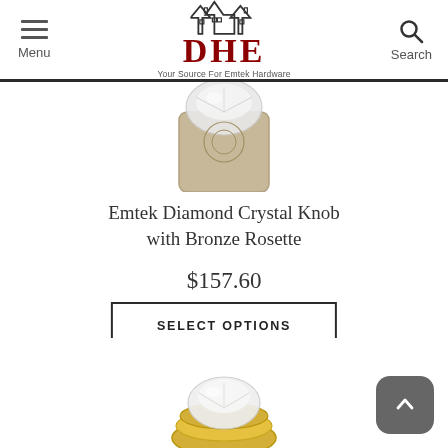DHE — Your Source For Emtek Hardware
[Figure (photo): Partial view of Emtek Diamond Crystal Knob with Bronze Rosette — top portion cropped, showing crystal knob on a bronze/tan rosette plate]
Emtek Diamond Crystal Knob with Bronze Rosette
$157.60
SELECT OPTIONS
[Figure (photo): Partial view of a gold/crystal knob product at the bottom of the page, partially cropped]